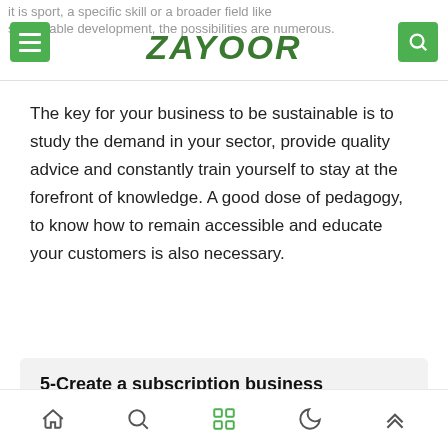it is sport, a specific skill or a broader field like sustainable development, the possibilities are numerous.
ZAYOOR
The key for your business to be sustainable is to study the demand in your sector, provide quality advice and constantly train yourself to stay at the forefront of knowledge. A good dose of pedagogy, to know how to remain accessible and educate your customers is also necessary.
5-Create a subscription business
navigation icons: home, search, grid, moon, up-arrow